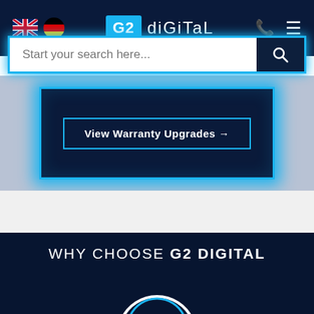[Figure (screenshot): G2 Digital website navigation bar with UK and German flags, G2 Digital logo, phone and menu icons]
Start your search here...
View Warranty Upgrades →
WHY CHOOSE G2 DIGITAL
[Figure (illustration): Partial circular arc icon in blue/white at the bottom of the dark section]